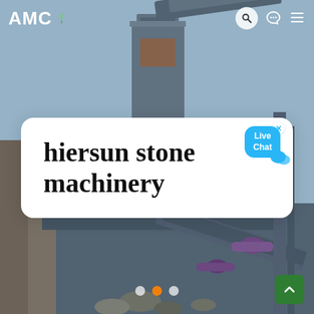[Figure (photo): Background photo of industrial stone crushing machinery equipment on a construction site with blue sky, metal frame structures, conveyor belts visible. A person is partially visible on the left side.]
AMC
hiersun stone machinery
[Figure (other): Live Chat button with blue speech bubble icon and close X, overlaid on the white card in the top-right area]
[Figure (other): Carousel navigation dots: three dots, middle one orange/active]
[Figure (other): Green scroll-to-top button with up arrow in bottom-right corner]